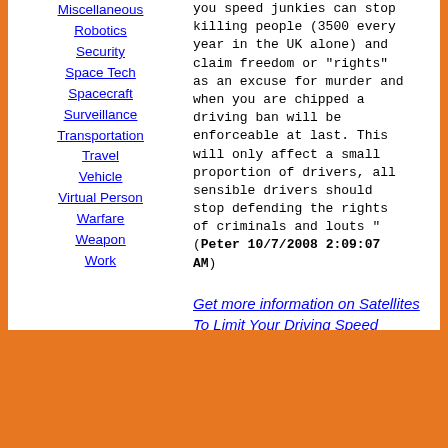Miscellaneous
Robotics
Security
Space Tech
Spacecraft
Surveillance
Transportation
Travel
Vehicle
Virtual Person
Warfare
Weapon
Work
you speed junkies can stop killing people (3500 every year in the UK alone) and claim freedom or "rights" as an excuse for murder and when you are chipped a driving ban will be enforceable at last. This will only affect a small proportion of drivers, all sensible drivers should stop defending the rights of criminals and louts " (Peter 10/7/2008 2:09:07 AM)
Get more information on Satellites To Limit Your Driving Speed